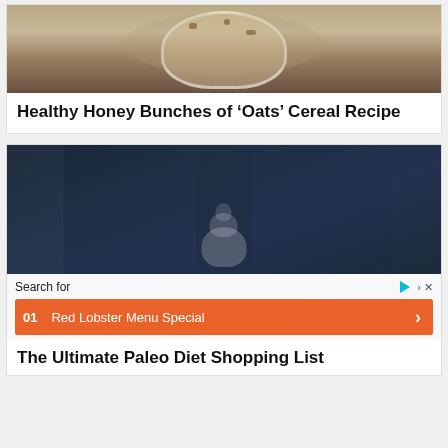[Figure (photo): A bowl of granola cereal photographed from above on a dark surface with a white napkin]
Healthy Honey Bunches of ‘Oats’ Cereal Recipe
[Figure (photo): Dark moody food photo with whipped cream dessert, overlaid with a search advertisement bar showing 'Search for' and '01 Red Lobster Menu Special']
The Ultimate Paleo Diet Shopping List